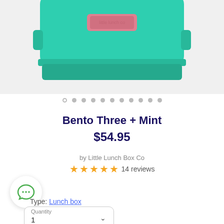[Figure (photo): Teal/mint colored bento lunch box with pink latch, partially cropped at top of page]
Bento Three + Mint
$54.95
by Little Lunch Box Co
★★★★★ 14 reviews
Type: Lunch box
Quantity 1